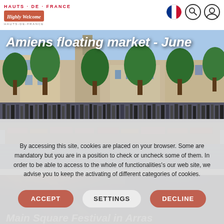HAUTS-DE-FRANCE / Highly Welcome / HAUTS-DE-FRANCE
[Figure (photo): Crowd gathered along a canal in Amiens for the floating market in June, with trees and historic buildings in the background]
Amiens floating market - June
[Figure (photo): Dark atmospheric image of Main Square Festival in Arras]
Main Square Festival in Arras
By accessing this site, cookies are placed on your browser. Some are mandatory but you are in a position to check or uncheck some of them. In order to be able to access to the whole of functionalities's our web site, we advise you to keep the activating of different categories of cookies.